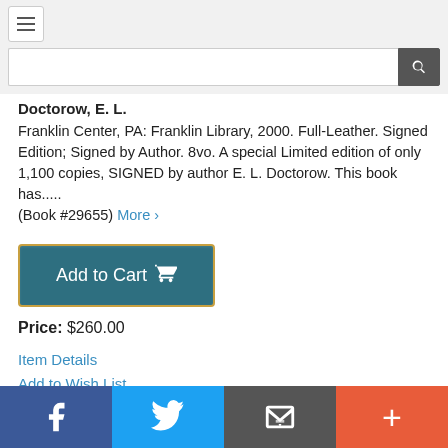Navigation bar with hamburger menu and search input
Doctorow, E. L.
Franklin Center, PA: Franklin Library, 2000. Full-Leather. Signed Edition; Signed by Author. 8vo. A special Limited edition of only 1,100 copies, SIGNED by author E. L. Doctorow. This book has.....
(Book #29655) More ›
[Figure (other): Add to Cart button with shopping cart icon]
Price: $260.00
Item Details
Add to Wish List
Ask a Question
Social sharing bar: Facebook, Twitter, Email, More (+)